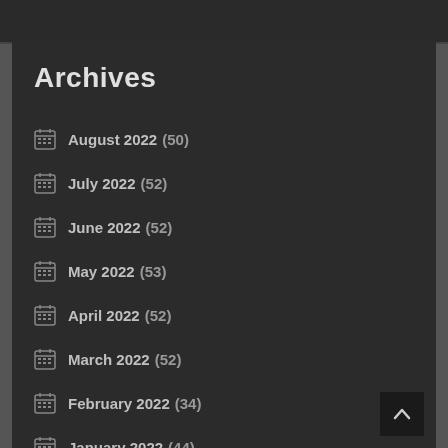Archives
August 2022 (50)
July 2022 (52)
June 2022 (52)
May 2022 (53)
April 2022 (52)
March 2022 (52)
February 2022 (34)
January 2022 (44)